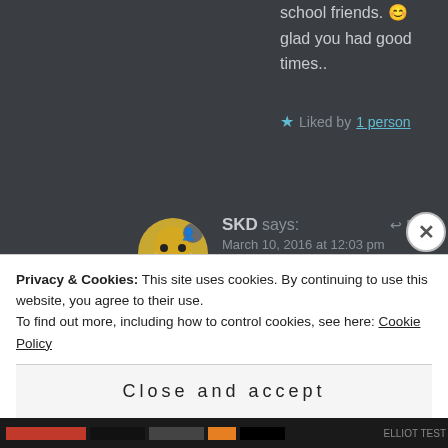school friends. 😊 glad you had good times..
★ Liked by 1 person
SKD says:
March 10, 2016 at 12:03 pm
Thank you Trupti 😊 👍 ❤
★ Liked by 1 person
Privacy & Cookies: This site uses cookies. By continuing to use this website, you agree to their use.
To find out more, including how to control cookies, see here: Cookie Policy
Close and accept